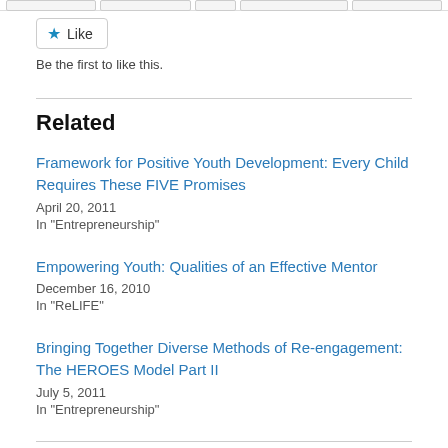[Figure (other): Top navigation bar with tab buttons]
Like
Be the first to like this.
Related
Framework for Positive Youth Development: Every Child Requires These FIVE Promises
April 20, 2011
In "Entrepreneurship"
Empowering Youth: Qualities of an Effective Mentor
December 16, 2010
In "ReLIFE"
Bringing Together Diverse Methods of Re-engagement: The HEROES Model Part II
July 5, 2011
In "Entrepreneurship"